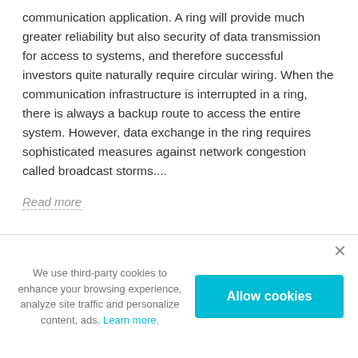communication application. A ring will provide much greater reliability but also security of data transmission for access to systems, and therefore successful investors quite naturally require circular wiring. When the communication infrastructure is interrupted in a ring, there is always a backup route to access the entire system. However, data exchange in the ring requires sophisticated measures against network congestion called broadcast storms....
Read more
We use third-party cookies to enhance your browsing experience, analyze site traffic and personalize content, ads. Learn more.
Allow cookies